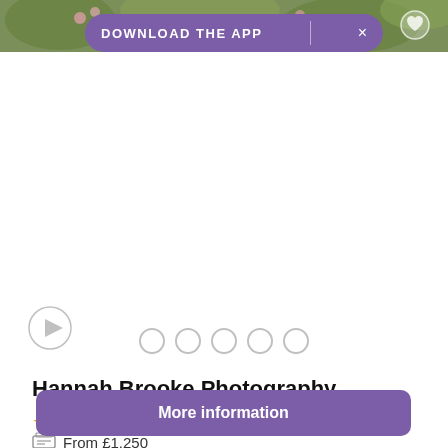[Figure (photo): Top banner photo of wedding florals/greenery, partially visible at top of card]
DOWNLOAD THE APP
Hannah Brooke Photography
5.0 (7) · Cumbria
From £1,250
More information